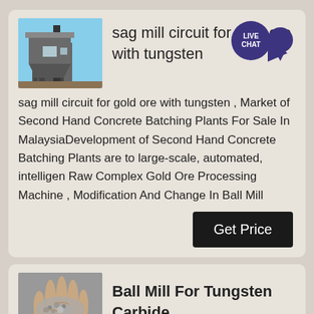sag mill circuit for gold ore with tungsten
sag mill circuit for gold ore with tungsten , Market of Second Hand Concrete Batching Plants For Sale In MalaysiaDevelopment of Second Hand Concrete Batching Plants are to large-scale, automated, intelligen Raw Complex Gold Ore Processing Machine , Modification And Change In Ball Mill
Ball Mill For Tungsten Carbide
Grinding Vessel 100 Ccm Ball Tungsten Carbide Grinding Vessel 100 Ccm Ball Tungsten Carbide